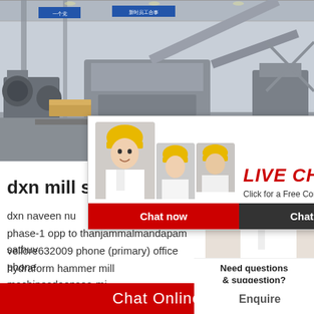[Figure (photo): Factory interior showing heavy industrial machinery and equipment on a large floor, with blue signage in Chinese characters visible on the walls and ceiling.]
[Figure (screenshot): Live chat popup overlay with workers wearing yellow hard hats, LIVE CHAT heading in red, 'Click for a Free Consultation' subtitle, and Chat now / Chat later buttons.]
[Figure (photo): Customer service woman wearing headset on right side panel, with '24hrs Online' badge above and 'Need questions & suggestion? Chat Now' call-to-action below.]
dxn mill su
dxn naveen nu
phase-1 opp to thanjammalmandapam sathuv
vellore632009 phone (primary) office phone
hydraform hammer mill machinesdeepsea-mi
Chat Online